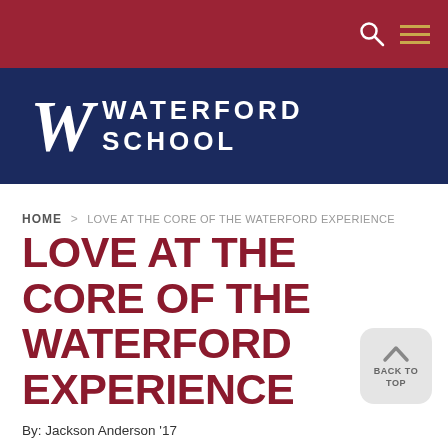Waterford School
HOME > LOVE AT THE CORE OF THE WATERFORD EXPERIENCE
LOVE AT THE CORE OF THE WATERFORD EXPERIENCE
By: Jackson Anderson '17
Thursday, June 15, 2017
Waterford News
Student Voices
Upper School